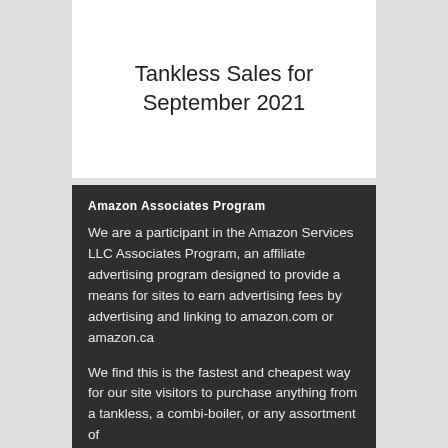Tankless Sales for September 2021
Amazon Associates Program
We are a participant in the Amazon Services LLC Associates Program, an affiliate advertising program designed to provide a means for sites to earn advertising fees by advertising and linking to amazon.com or amazon.ca
We find this is the fastest and cheapest way for our site visitors to purchase anything from a tankless, a combi-boiler, or any assortment of